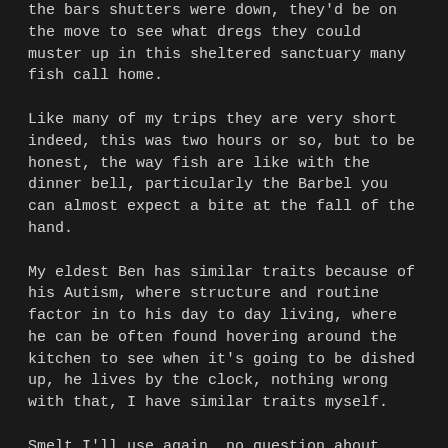the bars shutters were down, they'd be on the move to see what dregs they could muster up in this sheltered sanctuary many fish call home.
Like many of my trips they are very short indeed, this was two hours or so, but to be honest, the way fish are like with the dinner bell, particularly the Barbel you can almost expect a bite at the fall of the hand.
My eldest Ben has similar traits because of his Autism, where structure and routine factor in to his day to day living, where he can be often found hovering around the kitchen to see when it's going to be dished up, he lives by the clock, nothing wrong with that, I have similar traits myself.
Smelt I'll use again, no question about that, but on the edit it'll be...